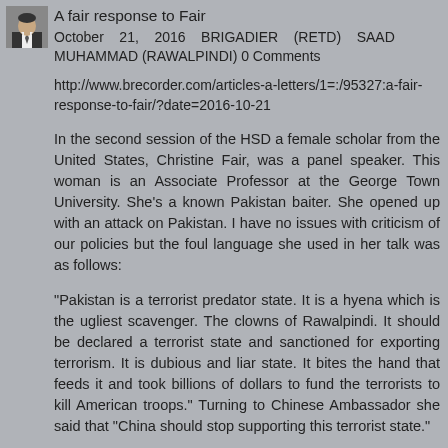[Figure (photo): Small avatar photo of a person in a suit and tie]
A fair response to Fair
October 21, 2016 BRIGADIER (RETD) SAAD MUHAMMAD (RAWALPINDI) 0 Comments
http://www.brecorder.com/articles-a-letters/1=:/95327:a-fair-response-to-fair/?date=2016-10-21
In the second session of the HSD a female scholar from the United States, Christine Fair, was a panel speaker. This woman is an Associate Professor at the George Town University. She's a known Pakistan baiter. She opened up with an attack on Pakistan. I have no issues with criticism of our policies but the foul language she used in her talk was as follows:
"Pakistan is a terrorist predator state. It is a hyena which is the ugliest scavenger. The clowns of Rawalpindi. It should be declared a terrorist state and sanctioned for exporting terrorism. It is dubious and liar state. It bites the hand that feeds it and took billions of dollars to fund the terrorists to kill American troops." Turning to Chinese Ambassador she said that "China should stop supporting this terrorist state."